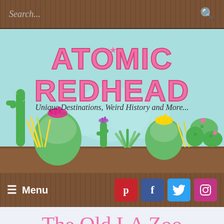Search...
[Figure (illustration): Atomic Redhead blog banner with illustrated cacti in teal background. Large pink hand-lettered title 'ATOMIC REDHEAD' with subtitle 'Unique Destinations, Weird History and More...']
≡ Menu
The Old LA Zoo
February 3, 2015, 4 Comments
As already established, I adore abandoned buildings. I love the spookiness that is created when nature begins to reclaim man-made structures, and it is this that sparked my interest in visiting the old Los Angeles Zoo at Griffith Park, which was at